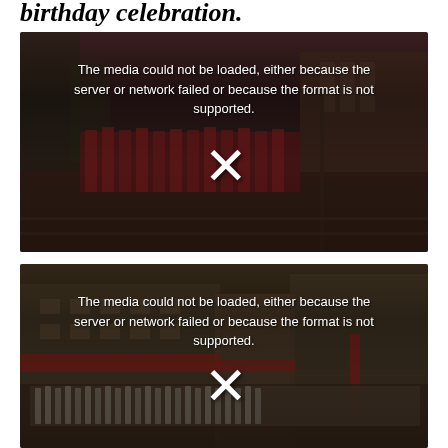birthday celebration.
[Figure (screenshot): Video player with error message: 'The media could not be loaded, either because the server or network failed or because the format is not supported.' shown over a dark background image of a marching band in red uniforms on a street.]
[Figure (screenshot): Video player with error message: 'The media could not be loaded, either because the server or network failed or because the format is not supported.' shown over a dark background image of a crowd and buildings with red banners.]